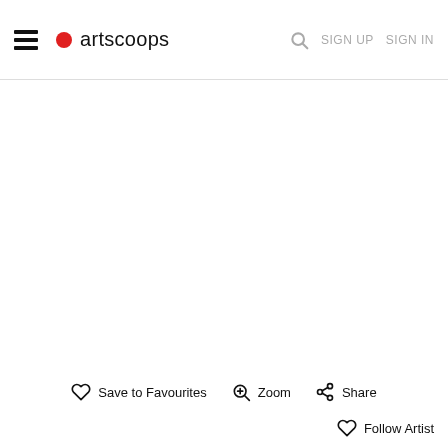artscoops — SIGN UP  SIGN IN
[Figure (screenshot): Blank white content area for an artwork page on artscoops website]
Save to Favourites   Zoom   Share
Follow Artist